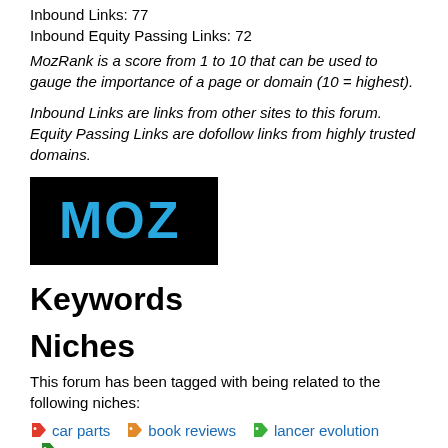Inbound Links: 77
Inbound Equity Passing Links: 72
MozRank is a score from 1 to 10 that can be used to gauge the importance of a page or domain (10 = highest).
Inbound Links are links from other sites to this forum. Equity Passing Links are dofollow links from highly trusted domains.
[Figure (logo): MOZ logo — white/cyan 'MOZ' text on black background]
Keywords
Niches
This forum has been tagged with being related to the following niches:
car parts
book reviews
lancer evolution
mma news